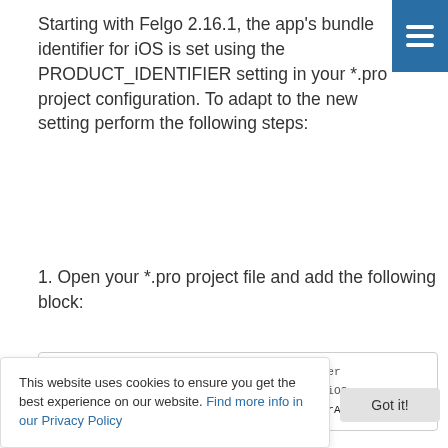Starting with Felgo 2.16.1, the app's bundle identifier for iOS is set using the PRODUCT_IDENTIFIER setting in your *.pro project configuration. To adapt to the new setting perform the following steps:
1. Open your *.pro project file and add the following block:
# configure the product's bundle identifier
# this identifier is used for the app on iOS
PRODUCT_IDENTIFIER = com.your.company.YourApp
where com.your.company.YourApp matches the CFBundleIdentifier setting of your existing Project-Info.plist configuration.
e ios subfolder and ifier with
$(PRODUCT_BUNDLE_IDENTIFIER), so that it looks like
This website uses cookies to ensure you get the best experience on our website. Find more info in our Privacy Policy
Got it!